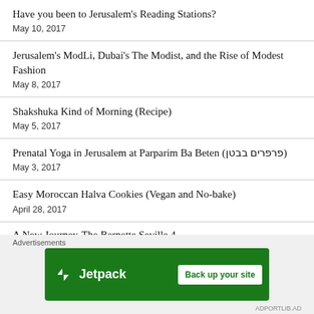Have you been to Jerusalem's Reading Stations?
May 10, 2017
Jerusalem's ModLi, Dubai's The Modist, and the Rise of Modest Fashion
May 8, 2017
Shakshuka Kind of Morning (Recipe)
May 5, 2017
Prenatal Yoga in Jerusalem at Parparim Ba Beten (פרפרים בבטן)
May 3, 2017
Easy Moroccan Halva Cookies (Vegan and No-bake)
April 28, 2017
A New Journey-The Bernette Seville 4
Advertisements
[Figure (other): Jetpack advertisement banner with green background, Jetpack logo on left and 'Back up your site' button on right]